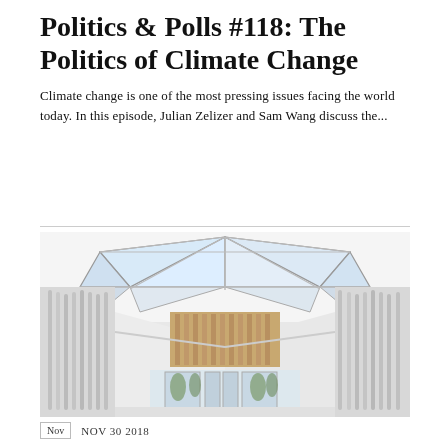Politics & Polls #118: The Politics of Climate Change
Climate change is one of the most pressing issues facing the world today. In this episode, Julian Zelizer and Sam Wang discuss the...
[Figure (photo): Interior architectural photo of a modern atrium or lobby viewed from above, featuring a geometric glass skylight with triangular metal frames, white curved walls with vertical slats, and a view down to a lower floor with glass doors and trees visible outside.]
Nov   NOV 30 2018